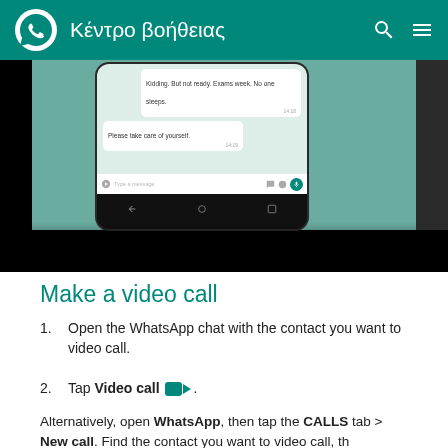Κέντρο βοήθειας
[Figure (screenshot): WhatsApp chat screenshot on a phone held in hand, showing chat messages and a teal video call button, displayed against a teal/black background]
Make a video call
1. Open the WhatsApp chat with the contact you want to video call.
2. Tap Video call [video camera icon].
Alternatively, open WhatsApp, then tap the CALLS tab > New call. Find the contact you want to video call, th...